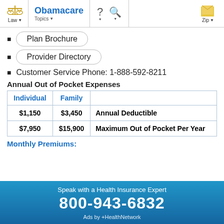Obamacare | Law | Topics | Zip
Plan Brochure
Provider Directory
Customer Service Phone: 1-888-592-8211
Annual Out of Pocket Expenses
| Individual | Family |  |
| --- | --- | --- |
| $1,150 | $3,450 | Annual Deductible |
| $7,950 | $15,900 | Maximum Out of Pocket Per Year |
Monthly Premiums:
Speak with a Health Insurance Expert
800-943-6832
Ads by +HealthNetwork